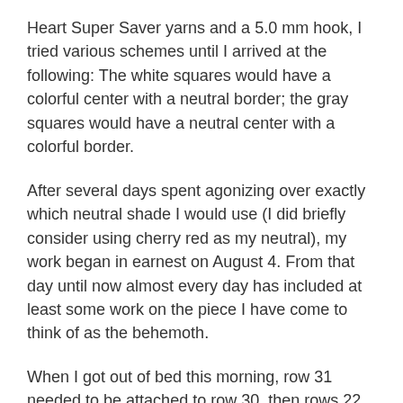Heart Super Saver yarns and a 5.0 mm hook, I tried various schemes until I arrived at the following: The white squares would have a colorful center with a neutral border; the gray squares would have a neutral center with a colorful border.
After several days spent agonizing over exactly which neutral shade I would use (I did briefly consider using cherry red as my neutral), my work began in earnest on August 4. From that day until now almost every day has included at least some work on the piece I have come to think of as the behemoth.
When I got out of bed this morning, row 31 needed to be attached to row 30, then rows 22 through 31 needed to be blocked, and lastly, row 22 needed to be joined to row 21. This last task is the one that, while not difficult, was substantially awkward. The